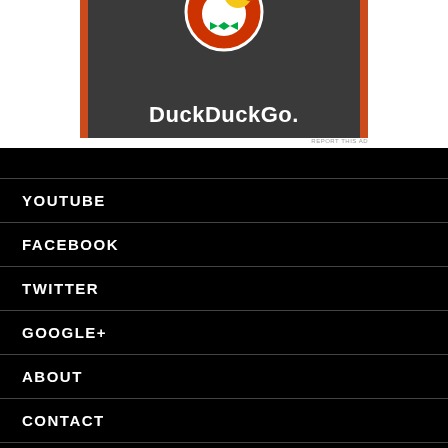[Figure (logo): DuckDuckGo advertisement banner with duck logo and 'DuckDuckGo.' text on dark background with orange borders]
REPORT THIS AD
YOUTUBE
FACEBOOK
TWITTER
GOOGLE+
ABOUT
CONTACT